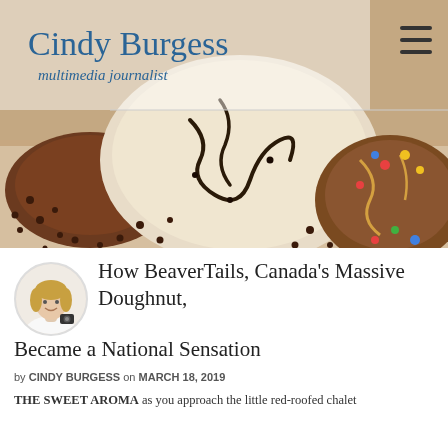[Figure (photo): Hero banner photo showing BeaverTails pastries with chocolate drizzle and toppings on a wooden surface, with the Cindy Burgess multimedia journalist logo overlaid in the top left and a hamburger menu icon in the top right]
How BeaverTails, Canada's Massive Doughnut, Became a National Sensation
by CINDY BURGESS on MARCH 18, 2019
THE SWEET AROMA as you approach the little red-roofed chalet